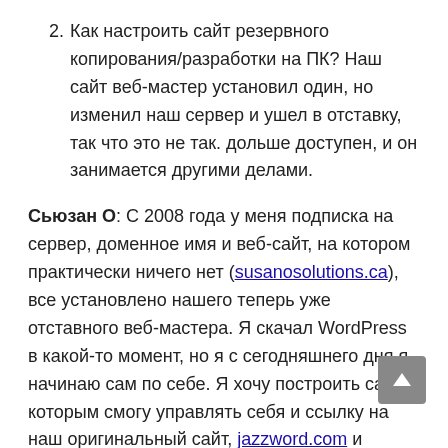2. Как настроить сайт резервного копирования/разработки на ПК? Наш сайт веб-мастер установил один, но изменил наш сервер и ушел в отставку, так что это не так. дольше доступен, и он занимается другими делами.
Сьюзан О: С 2008 года у меня подписка на сервер, доменное имя и веб-сайт, на котором практически ничего нет (susanosolutions.ca), все установлено нашего теперь уже отставного веб-мастера. Я скачал WordPress в какой-то момент, но я с сегодняшнего дня я начинаю сам по себе. Я хочу построить сайт, которым смогу управлять себя и ссылку на наш оригинальный сайт, jazzword.com и